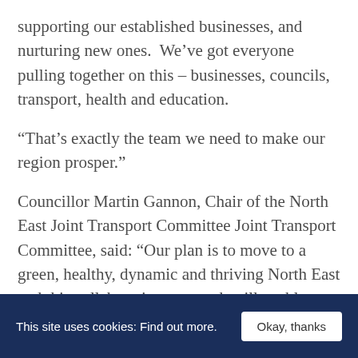supporting our established businesses, and nurturing new ones.  We've got everyone pulling together on this – businesses, councils, transport, health and education.
“That’s exactly the team we need to make our region prosper.”
Councillor Martin Gannon, Chair of the North East Joint Transport Committee Joint Transport Committee, said: “Our plan is to move to a green, healthy, dynamic and thriving North East and this collaborative approach will enable us to fast track the plans in place.
“We are united in our goal to deliver carbon-neutral
This site uses cookies: Find out more.   Okay, thanks